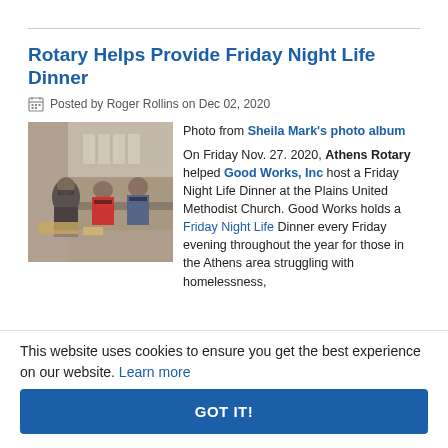Rotary Helps Provide Friday Night Life Dinner
Posted by Roger Rollins on Dec 02, 2020
[Figure (photo): Photo showing people working in a kitchen, wearing masks, preparing food for the Friday Night Life Dinner.]
Photo from Sheila Mark's photo album

On Friday Nov. 27. 2020, Athens Rotary helped Good Works, Inc host a Friday Night Life Dinner at the Plains United Methodist Church. Good Works holds a Friday Night Life Dinner every Friday evening throughout the year for those in the Athens area struggling with homelessness,
This website uses cookies to ensure you get the best experience on our website. Learn more
GOT IT!